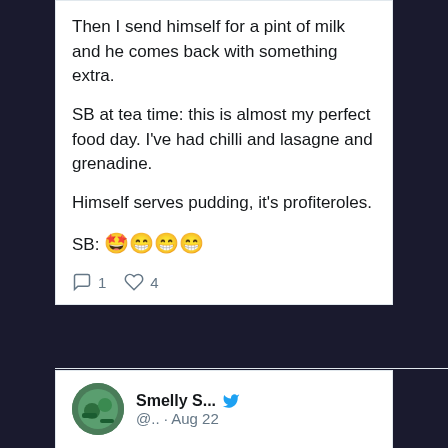Then I send himself for a pint of milk and he comes back with something extra.

SB at tea time: this is almost my perfect food day. I've had chilli and lasagne and grenadine.

Himself serves pudding, it's profiteroles.

SB: 🤩😁😁😁
1 reply, 4 likes
Smelly S... @.. · Aug 22

Small boy's favourite foods are chilli, lasagne, and profiteroles.